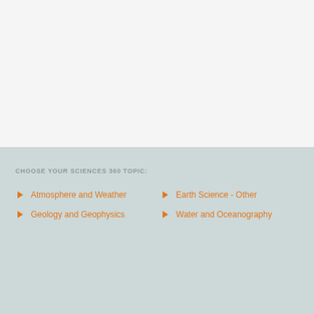[Figure (other): White/light gray blank top section of a webpage]
CHOOSE YOUR SCIENCES 360 TOPIC:
Atmosphere and Weather
Earth Science - Other
Geology and Geophysics
Water and Oceanography